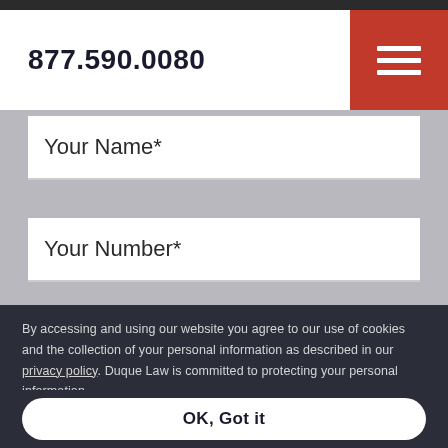877.590.0080
Your Name*
Your Number*
Your Email*
By accessing and using our website you agree to our use of cookies and the collection of your personal information as described in our privacy policy. Duque Law is committed to protecting your personal information.
OK, Got it